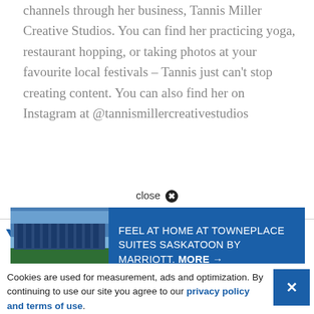channels through her business, Tannis Miller Creative Studios. You can find her practicing yoga, restaurant hopping, or taking photos at your favourite local festivals – Tannis just can't stop creating content. You can also find her on Instagram at @tannismillercreativestudios
close ✕
[Figure (screenshot): Advertisement banner for TownePlace Suites Saskatoon by Marriott with blue background and building photo. Text: FEEL AT HOME AT TOWNEPLACE SUITES SASKATOON BY MARRIOTT. MORE →]
You
Cookies are used for measurement, ads and optimization. By continuing to use our site you agree to our privacy policy and terms of use.